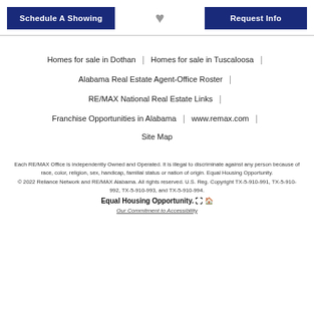Schedule A Showing | ♥ | Request Info
Homes for sale in Dothan | Homes for sale in Tuscaloosa | Alabama Real Estate Agent-Office Roster | RE/MAX National Real Estate Links | Franchise Opportunities in Alabama | www.remax.com | Site Map
Each RE/MAX Office is independently Owned and Operated. It is illegal to discriminate against any person because of race, color, religion, sex, handicap, familial status or nation of origin. Equal Housing Opportunity. © 2022 Reliance Network and RE/MAX Alabama. All rights reserved. U.S. Reg. Copyright TX-5-910-991, TX-5-910-992, TX-5-910-993, and TX-5-910-994. Equal Housing Opportunity. Our Commitment to Accessibility